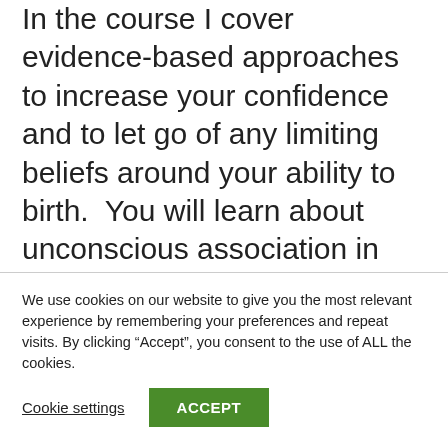In the course I cover evidence-based approaches to increase your confidence and to let go of any limiting beliefs around your ability to birth.  You will learn about unconscious association in your environment, the impact of fear and anxiety on choices and experience, your soothing system, theories around pain, as well as lots of hypnosis tools to use when you need them.
We use cookies on our website to give you the most relevant experience by remembering your preferences and repeat visits. By clicking "Accept", you consent to the use of ALL the cookies.
Cookie settings
ACCEPT